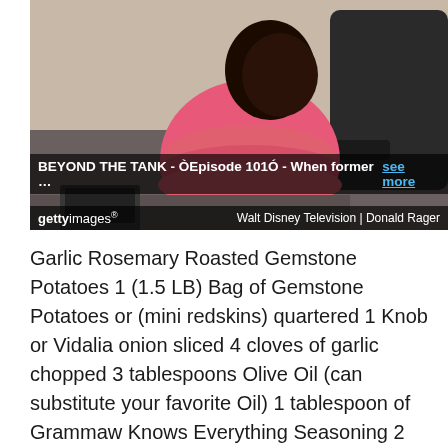[Figure (photo): A person in a pink ruffled dress sitting at a desk in what appears to be a TV show setting (Beyond the Tank). The image has a Getty Images watermark and credit to Walt Disney Television | Donald Rager. An overlay bar shows the episode title text and a 'see more' link.]
Garlic Rosemary Roasted Gemstone Potatoes 1 (1.5 LB) Bag of Gemstone Potatoes or (mini redskins) quartered 1 Knob or Vidalia onion sliced 4 cloves of garlic chopped 3 tablespoons Olive Oil (can substitute your favorite Oil) 1 tablespoon of Grammaw Knows Everything Seasoning 2 Tablespoons of fresh rosemary chopped Wash and dice potatoes, add to baking pan toss the potatoes in olive oil, sprinkle with “Grammaw Knows Everything” top the potatoes with the onions, garlic, and rosemary, mix and bake at 400 degrees for about 30-35 minutes or until...